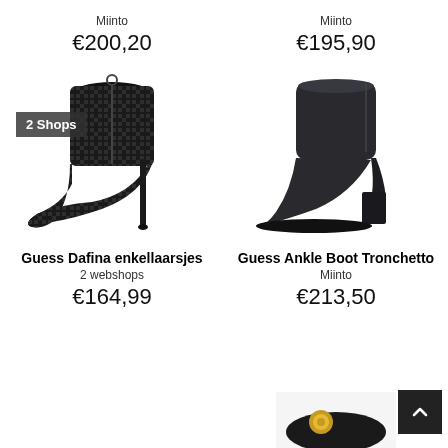Miinto
€200,20
Miinto
€195,90
[Figure (photo): Guess Dafina ankle boot with high stiletto heel and black geometric patterned upper, with '2 Shops' badge overlay]
[Figure (photo): Guess Ankle Boot Tronchetto, dark leather block heel ankle boot, side view]
Guess Dafina enkellaarsjes
2 webshops
€164,99
Guess Ankle Boot Tronchetto
Miinto
€213,50
[Figure (photo): Partial view of a shoe/boot at the bottom right of the page]
[Figure (other): Back-to-top button, dark square with upward chevron]